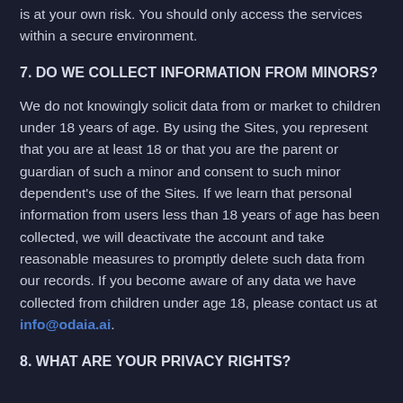is at your own risk. You should only access the services within a secure environment.
7. DO WE COLLECT INFORMATION FROM MINORS?
We do not knowingly solicit data from or market to children under 18 years of age. By using the Sites, you represent that you are at least 18 or that you are the parent or guardian of such a minor and consent to such minor dependent's use of the Sites. If we learn that personal information from users less than 18 years of age has been collected, we will deactivate the account and take reasonable measures to promptly delete such data from our records. If you become aware of any data we have collected from children under age 18, please contact us at info@odaia.ai.
8. WHAT ARE YOUR PRIVACY RIGHTS?